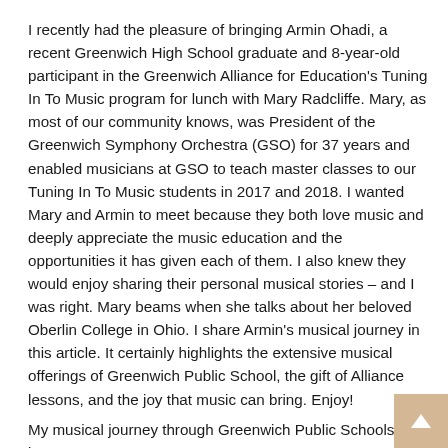I recently had the pleasure of bringing Armin Ohadi, a recent Greenwich High School graduate and 8-year-old participant in the Greenwich Alliance for Education's Tuning In To Music program for lunch with Mary Radcliffe. Mary, as most of our community knows, was President of the Greenwich Symphony Orchestra (GSO) for 37 years and enabled musicians at GSO to teach master classes to our Tuning In To Music students in 2017 and 2018. I wanted Mary and Armin to meet because they both love music and deeply appreciate the music education and the opportunities it has given each of them. I also knew they would enjoy sharing their personal musical stories – and I was right. Mary beams when she talks about her beloved Oberlin College in Ohio. I share Armin's musical journey in this article. It certainly highlights the extensive musical offerings of Greenwich Public School, the gift of Alliance lessons, and the joy that music can bring. Enjoy!
My musical journey through Greenwich Public Schools began at